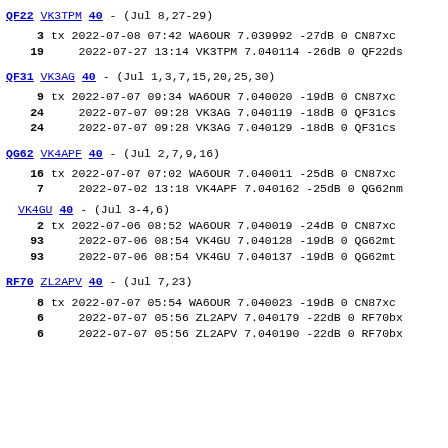QF22 VK3TPM 40 - (Jul 8,27-29)
3 tx 2022-07-08 07:42 WA6OUR 7.039992 -27dB 0 CN87xc
19    2022-07-27 13:14 VK3TPM 7.040114 -26dB 0 QF22ds
QF31 VK3AG 40 - (Jul 1,3,7,15,20,25,30)
9 tx 2022-07-07 09:34 WA6OUR 7.040020 -19dB 0 CN87xc
24    2022-07-07 09:28 VK3AG 7.040119 -18dB 0 QF31cs
24    2022-07-07 09:28 VK3AG 7.040129 -18dB 0 QF31cs
QG62 VK4APF 40 - (Jul 2,7,9,16)
16 tx 2022-07-07 07:02 WA6OUR 7.040011 -25dB 0 CN87xc
7    2022-07-02 13:18 VK4APF 7.040162 -25dB 0 QG62nm
VK4GU 40 - (Jul 3-4,6)
2 tx 2022-07-06 08:52 WA6OUR 7.040019 -24dB 0 CN87xc
93    2022-07-06 08:54 VK4GU 7.040128 -19dB 0 QG62mt
93    2022-07-06 08:54 VK4GU 7.040137 -19dB 0 QG62mt
RF70 ZL2APV 40 - (Jul 7,23)
8 tx 2022-07-07 05:54 WA6OUR 7.040023 -19dB 0 CN87xc
6    2022-07-07 05:56 ZL2APV 7.040179 -22dB 0 RF70bx
6    2022-07-07 05:56 ZL2APV 7.040190 -22dB 0 RF70bx